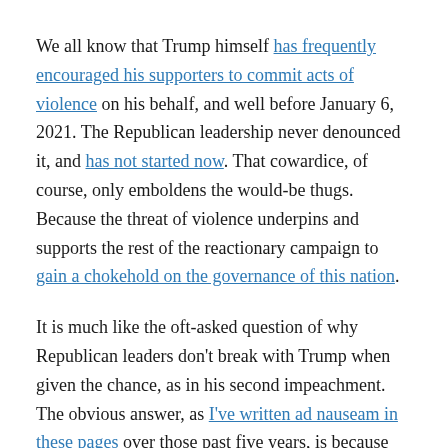We all know that Trump himself has frequently encouraged his supporters to commit acts of violence on his behalf, and well before January 6, 2021. The Republican leadership never denounced it, and has not started now. That cowardice, of course, only emboldens the would-be thugs. Because the threat of violence underpins and supports the rest of the reactionary campaign to gain a chokehold on the governance of this nation.
It is much like the oft-asked question of why Republican leaders don't break with Trump when given the chance, as in his second impeachment. The obvious answer, as I've written ad nauseam in these pages over those past five years, is because they don't want to break with him. And why should they? He serves their purposes beautifully! (Oh, I guess there is that pesky issue of common human decency and any shred of morality. But let's not split hairs.)
Similarly, we should not be surprised that Republicans have not